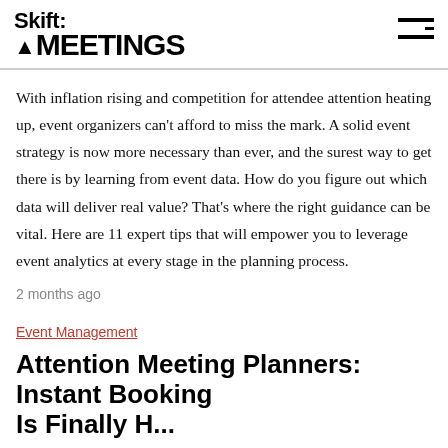Skift MEETINGS
With inflation rising and competition for attendee attention heating up, event organizers can't afford to miss the mark. A solid event strategy is now more necessary than ever, and the surest way to get there is by learning from event data. How do you figure out which data will deliver real value? That's where the right guidance can be vital. Here are 11 expert tips that will empower you to leverage event analytics at every stage in the planning process.
2 months ago
Event Management
Attention Meeting Planners: Instant Booking Is Finally H...